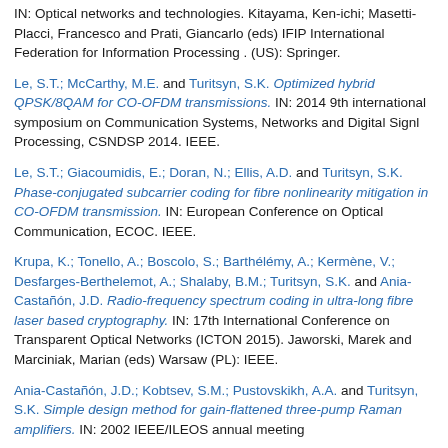IN: Optical networks and technologies. Kitayama, Ken-ichi; Masetti-Placci, Francesco and Prati, Giancarlo (eds) IFIP International Federation for Information Processing . (US): Springer.
Le, S.T.; McCarthy, M.E. and Turitsyn, S.K. Optimized hybrid QPSK/8QAM for CO-OFDM transmissions. IN: 2014 9th international symposium on Communication Systems, Networks and Digital Signl Processing, CSNDSP 2014. IEEE.
Le, S.T.; Giacoumidis, E.; Doran, N.; Ellis, A.D. and Turitsyn, S.K. Phase-conjugated subcarrier coding for fibre nonlinearity mitigation in CO-OFDM transmission. IN: European Conference on Optical Communication, ECOC. IEEE.
Krupa, K.; Tonello, A.; Boscolo, S.; Barthélémy, A.; Kermène, V.; Desfarges-Berthelemot, A.; Shalaby, B.M.; Turitsyn, S.K. and Ania-Castañón, J.D. Radio-frequency spectrum coding in ultra-long fibre laser based cryptography. IN: 17th International Conference on Transparent Optical Networks (ICTON 2015). Jaworski, Marek and Marciniak, Marian (eds) Warsaw (PL): IEEE.
Ania-Castañón, J.D.; Kobtsev, S.M.; Pustovskikh, A.A. and Turitsyn, S.K. Simple design method for gain-flattened three-pump Raman amplifiers. IN: 2002 IEEE/ILEOS annual meeting